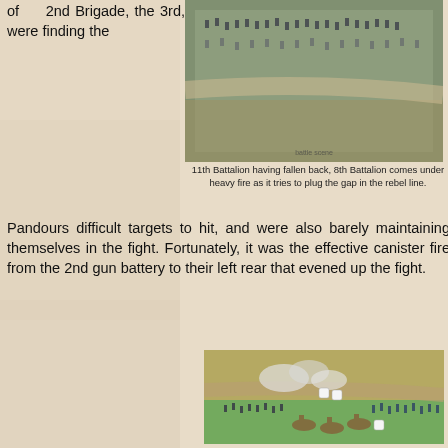of 2nd Brigade, the 3rd, were finding the Pandours difficult targets to hit, and were also barely maintaining themselves in the fight. Fortunately, it was the effective canister fire from the 2nd gun battery to their left rear that evened up the fight.
[Figure (photo): Aerial view of miniature wargame battle scene showing blue-uniformed soldiers arranged on a terrain board.]
11th Battalion having fallen back, 8th Battalion comes under heavy fire as it tries to plug the gap in the rebel line.
[Figure (photo): Miniature wargame battle scene showing soldiers, cavalry, smoke effects, and dice on a terrain board with green and sandy colored ground.]
3rd battalion barely holding its own against the swarming Pandours. The 2nd Field gun sustains them in the